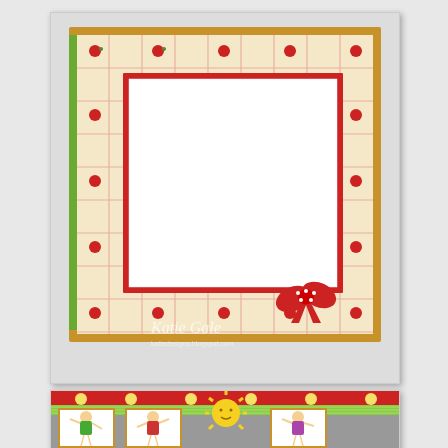[Figure (photo): Handmade greeting card with pink and cream plaid/floral patterned paper, gold border, white center panel with red mat, red polka-dot and striped bow in bottom right corner. Watermark reads 'Katie Gale' with blog URL.]
[Figure (photo): Close-up of a handmade scrapbook/card project featuring cartoon girl figures (Tilda-style) on white panels with green striped and red daisy patterned paper, and a yellow sun character in the center.]